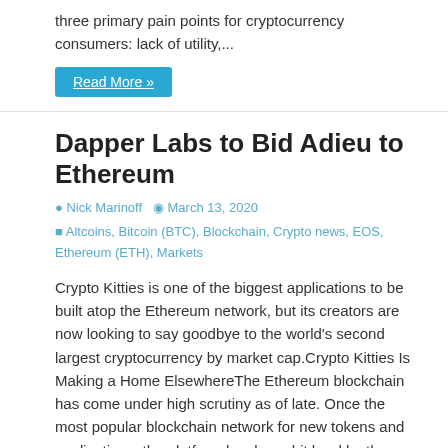three primary pain points for cryptocurrency consumers: lack of utility,...
Read More »
Dapper Labs to Bid Adieu to Ethereum
Nick Marinoff   March 13, 2020   Altcoins, Bitcoin (BTC), Blockchain, Crypto news, EOS, Ethereum (ETH), Markets
Crypto Kitties is one of the biggest applications to be built atop the Ethereum network, but its creators are now looking to say goodbye to the world's second largest cryptocurrency by market cap.Crypto Kitties Is Making a Home ElsewhereThe Ethereum blockchain has come under high scrutiny as of late. Once the most popular blockchain network for new tokens and applications, the platform has been hit hard by the amount of traffic it's attracted since its birth in 2015. This traffic has resulted...
Read More »